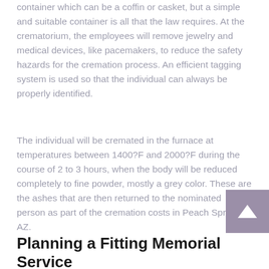container which can be a coffin or casket, but a simple and suitable container is all that the law requires. At the crematorium, the employees will remove jewelry and medical devices, like pacemakers, to reduce the safety hazards for the cremation process. An efficient tagging system is used so that the individual can always be properly identified.
The individual will be cremated in the furnace at temperatures between 1400?F and 2000?F during the course of 2 to 3 hours, when the body will be reduced completely to fine powder, mostly a grey color. These are the ashes that are then returned to the nominated person as part of the cremation costs in Peach Springs, AZ.
Planning a Fitting Memorial Service